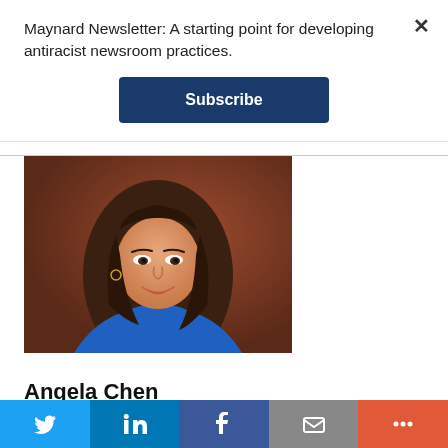Maynard Newsletter: A starting point for developing antiracist newsroom practices.
Subscribe
[Figure (photo): Professional headshot of Angela Chen, a woman with long brown hair wearing a blue top, photographed against a warm reddish-brown background.]
Angela Chen
Angela became a morning anchor at KESQ-TV, the
Twitter | LinkedIn | Facebook | Email | More